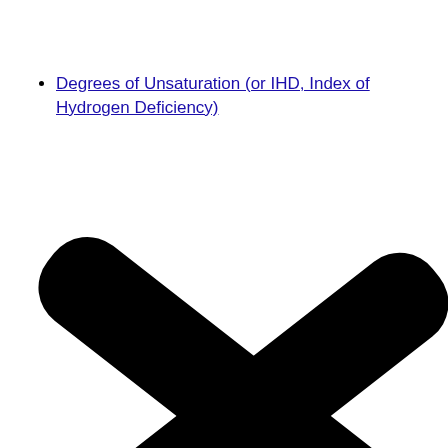Degrees of Unsaturation (or IHD, Index of Hydrogen Deficiency)
[Figure (illustration): A large black right-pointing chevron/arrow icon (greater-than sign shape), formed by two thick rounded rectangular bars meeting at a point on the right, partially cropped at the bottom of the page.]